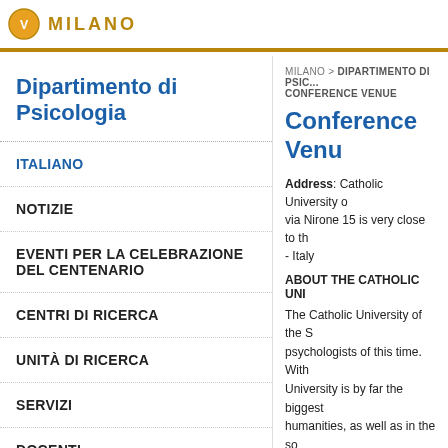MILANO
Dipartimento di Psicologia
ITALIANO
NOTIZIE
EVENTI PER LA CELEBRAZIONE DEL CENTENARIO
CENTRI DI RICERCA
UNITÀ DI RICERCA
SERVIZI
DOCENTI
MILANO > DIPARTIMENTO DI PSIC... CONFERENCE VENUE
Conference Venue
Address: Catholic University of... via Nirone 15 is very close to th... - Italy
ABOUT THE CATHOLIC UNI...
The Catholic University of the S... psychologists of this time. With... University is by far the biggest... humanities, as well as in the so... University, although there are m... in 1921 to the over 30,000 curr... and influential academic comm...
HOW TO REACH THE UNIVE...
By Plane
Most international participants...
From Milan Linate Airport...